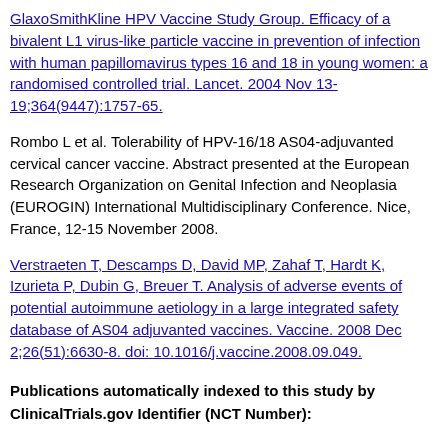GlaxoSmithKline HPV Vaccine Study Group. Efficacy of a bivalent L1 virus-like particle vaccine in prevention of infection with human papillomavirus types 16 and 18 in young women: a randomised controlled trial. Lancet. 2004 Nov 13-19;364(9447):1757-65.
Rombo L et al. Tolerability of HPV-16/18 AS04-adjuvanted cervical cancer vaccine. Abstract presented at the European Research Organization on Genital Infection and Neoplasia (EUROGIN) International Multidisciplinary Conference. Nice, France, 12-15 November 2008.
Verstraeten T, Descamps D, David MP, Zahaf T, Hardt K, Izurieta P, Dubin G, Breuer T. Analysis of adverse events of potential autoimmune aetiology in a large integrated safety database of AS04 adjuvanted vaccines. Vaccine. 2008 Dec 2;26(51):6630-8. doi: 10.1016/j.vaccine.2008.09.049.
Publications automatically indexed to this study by ClinicalTrials.gov Identifier (NCT Number):